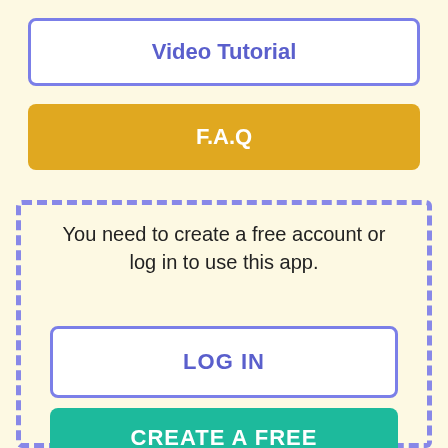Video Tutorial
F.A.Q
You need to create a free account or log in to use this app.
LOG IN
CREATE A FREE